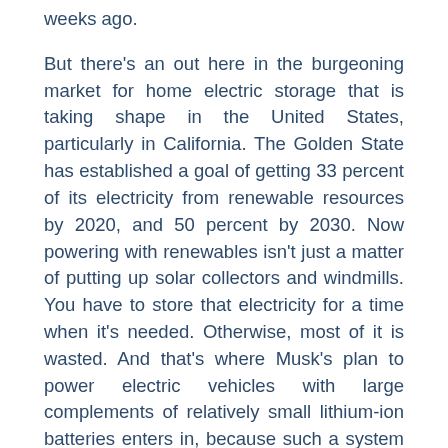weeks ago.
But there's an out here in the burgeoning market for home electric storage that is taking shape in the United States, particularly in California. The Golden State has established a goal of getting 33 percent of its electricity from renewable resources by 2020, and 50 percent by 2030. Now powering with renewables isn't just a matter of putting up solar collectors and windmills. You have to store that electricity for a time when it's needed. Otherwise, most of it is wasted. And that's where Musk's plan to power electric vehicles with large complements of relatively small lithium-ion batteries enters in, because such a system also will be ideal for storing electricity in household-sized units.
Without any fanfare, Tesla already has installed